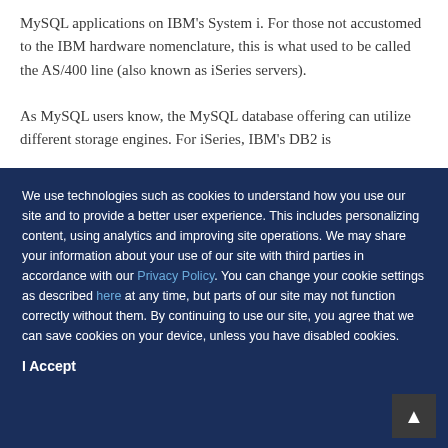MySQL applications on IBM's System i. For those not accustomed to the IBM hardware nomenclature, this is what used to be called the AS/400 line (also known as iSeries servers).
As MySQL users know, the MySQL database offering can utilize different storage engines. For iSeries, IBM's DB2 is
We use technologies such as cookies to understand how you use our site and to provide a better user experience. This includes personalizing content, using analytics and improving site operations. We may share your information about your use of our site with third parties in accordance with our Privacy Policy. You can change your cookie settings as described here at any time, but parts of our site may not function correctly without them. By continuing to use our site, you agree that we can save cookies on your device, unless you have disabled cookies.
I Accept